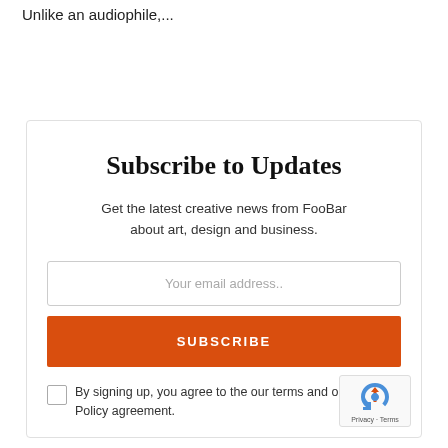Unlike an audiophile,...
Subscribe to Updates
Get the latest creative news from FooBar about art, design and business.
Your email address..
SUBSCRIBE
By signing up, you agree to the our terms and our Privacy Policy agreement.